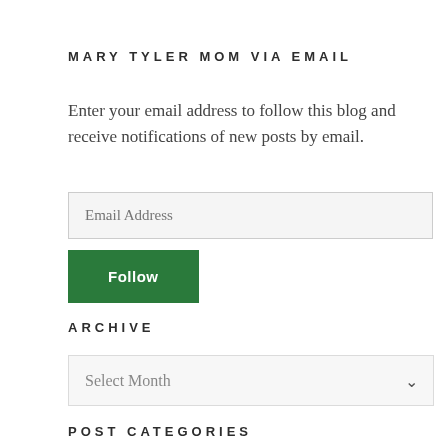MARY TYLER MOM VIA EMAIL
Enter your email address to follow this blog and receive notifications of new posts by email.
Email Address
Follow
ARCHIVE
Select Month
POST CATEGORIES